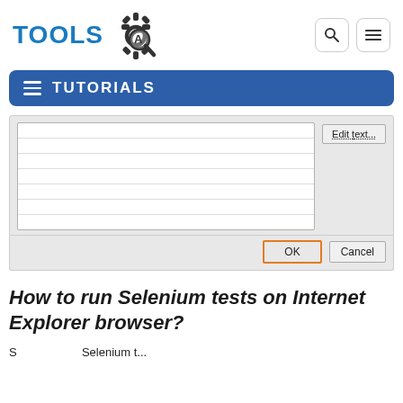[Figure (logo): ToolsQA logo with gear and magnifier icon, blue TOOLS text]
[Figure (screenshot): Dialog box screenshot showing a text area with horizontal lines, an Edit text... button, an OK button highlighted with orange border, and a Cancel button]
How to run Selenium tests on Internet Explorer browser?
S                    Selenium t...